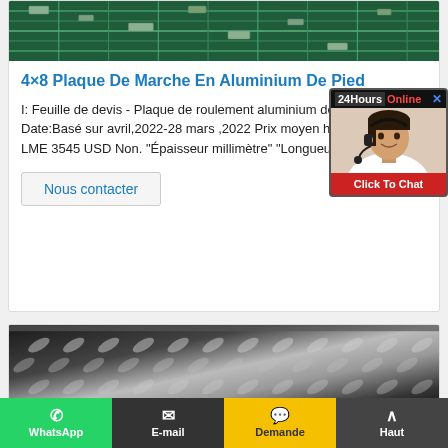[Figure (photo): Close-up of green circuit board / aluminum tread plate product image at top of card]
4×8 Plaque De Marche En Aluminium De Pied
I: Feuille de devis - Plaque de roulement aluminium de 4 × 8 pieds. Date:Basé sur avril,2022-28 mars ,2022 Prix moyen hebdomadaire LME 3545 USD Non. "Épaisseur millimètre" "Longueur Largeur
[Figure (photo): 24Hours Online chat agent widget with customer service representative photo and Click To Chat button]
Nous contacter
[Figure (photo): Aluminum checker/tread plate product image showing diamond pattern surface]
WhatsApp  E-mail  Demande  Haut